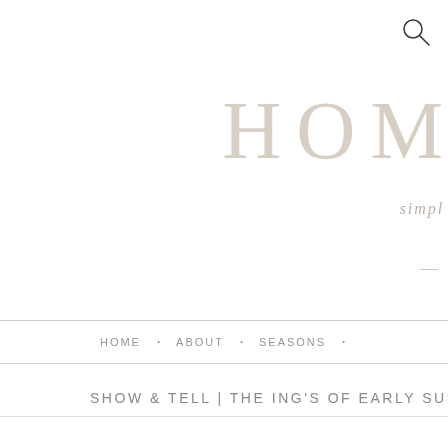[Figure (logo): Search icon (magnifying glass) in top right corner]
HOM
simpl
HOME • ABOUT • SEASONS •
SHOW & TELL | THE ING'S OF EARLY SUMM